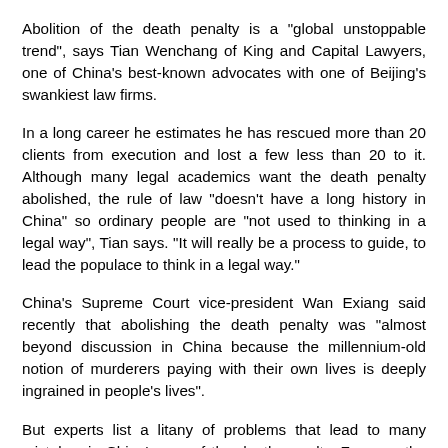Abolition of the death penalty is a "global unstoppable trend", says Tian Wenchang of King and Capital Lawyers, one of China's best-known advocates with one of Beijing's swankiest law firms.
In a long career he estimates he has rescued more than 20 clients from execution and lost a few less than 20 to it. Although many legal academics want the death penalty abolished, the rule of law "doesn't have a long history in China" so ordinary people are "not used to thinking in a legal way", Tian says. "It will really be a process to guide, to lead the populace to think in a legal way."
China's Supreme Court vice-president Wan Exiang said recently that abolishing the death penalty was "almost beyond discussion in China because the millennium-old notion of murderers paying with their own lives is deeply ingrained in people's lives".
But experts list a litany of problems that lead to many mistakes in China's use of the death penalty. For one, the courts simply don't attach enough importance to the life of ordinary people, Huo says. The death penalty is applied